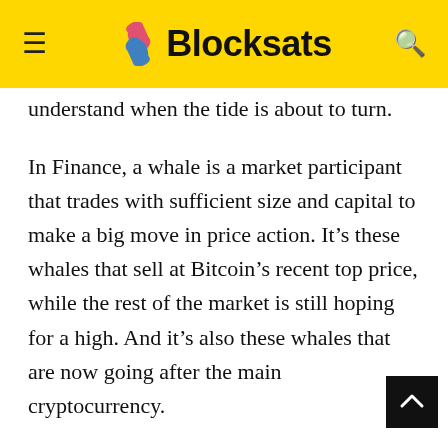Blocksats
understand when the tide is about to turn.
In Finance, a whale is a market participant that trades with sufficient size and capital to make a big move in price action. It’s these whales that sell at Bitcoin’s recent top price, while the rest of the market is still hoping for a high. And it’s also these whales that are now going after the main cryptocurrency.
Certain cryptocurrency trading platforms offer advanced products such as derivatives, leveraged longs and shorts positions. Instead of buying and